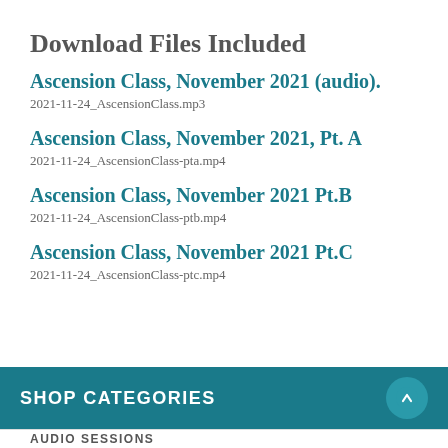Download Files Included
Ascension Class, November 2021 (audio).
2021-11-24_AscensionClass.mp3
Ascension Class, November 2021, Pt. A
2021-11-24_AscensionClass-pta.mp4
Ascension Class, November 2021 Pt.B
2021-11-24_AscensionClass-ptb.mp4
Ascension Class, November 2021 Pt.C
2021-11-24_AscensionClass-ptc.mp4
SHOP CATEGORIES
AUDIO SESSIONS